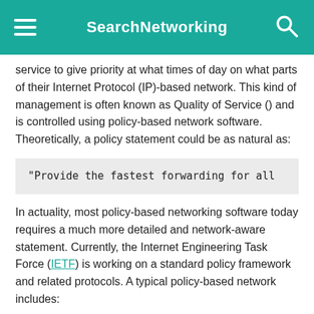SearchNetworking
service to give priority at what times of day on what parts of their Internet Protocol (IP)-based network. This kind of management is often known as Quality of Service () and is controlled using policy-based network software. Theoretically, a policy statement could be as natural as:
"Provide the fastest forwarding for all
In actuality, most policy-based networking software today requires a much more detailed and network-aware statement. Currently, the Internet Engineering Task Force (IETF) is working on a standard policy framework and related protocols. A typical policy-based network includes:
A network management console at which policies